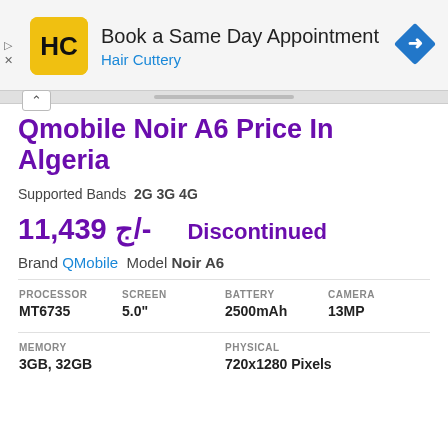[Figure (screenshot): Hair Cuttery advertisement banner with logo, text 'Book a Same Day Appointment', 'Hair Cuttery', and a blue direction arrow icon]
Qmobile Noir A6 Price In Algeria
Supported Bands  2G 3G 4G
11,439 ج/-   Discontinued
Brand QMobile Model Noir A6
| PROCESSOR | SCREEN | BATTERY | CAMERA |
| --- | --- | --- | --- |
| MT6735 | 5.0" | 2500mAh | 13MP |
| MEMORY | PHYSICAL |
| --- | --- |
| 3GB, 32GB | 720x1280 Pixels |